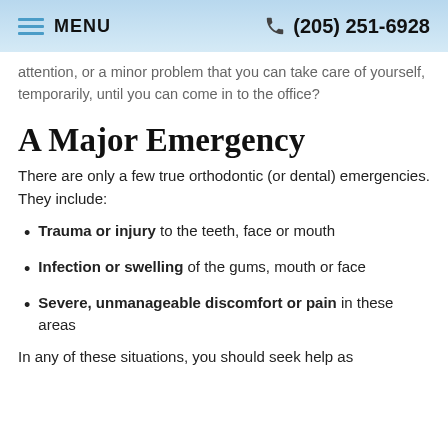MENU  (205) 251-6928
attention, or a minor problem that you can take care of yourself, temporarily, until you can come in to the office?
A Major Emergency
There are only a few true orthodontic (or dental) emergencies. They include:
Trauma or injury to the teeth, face or mouth
Infection or swelling of the gums, mouth or face
Severe, unmanageable discomfort or pain in these areas
In any of these situations, you should seek help as